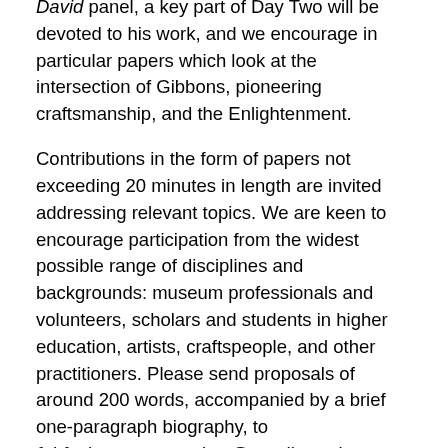David panel, a key part of Day Two will be devoted to his work, and we encourage in particular papers which look at the intersection of Gibbons, pioneering craftsmanship, and the Enlightenment.
Contributions in the form of papers not exceeding 20 minutes in length are invited addressing relevant topics. We are keen to encourage participation from the widest possible range of disciplines and backgrounds: museum professionals and volunteers, scholars and students in higher education, artists, craftspeople, and other practitioners. Please send proposals of around 200 words, accompanied by a brief one-paragraph biography, to fairfaxhousesymposium@gmail.com by Friday 8 September 2017. Any queries about the symposium should be sent to the same email address.